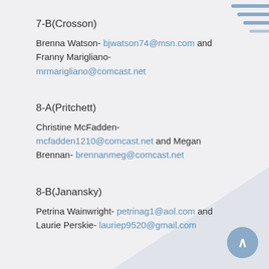7-B(Crosson)
Brenna Watson- bjwatson74@msn.com and Franny Marigliano- mrmarigliano@comcast.net
8-A(Pritchett)
Christine McFadden- mcfadden1210@comcast.net and Megan Brennan- brennanmeg@comcast.net
8-B(Janansky)
Petrina Wainwright- petrinag1@aol.com and Laurie Perskie- lauriep9520@gmail.com